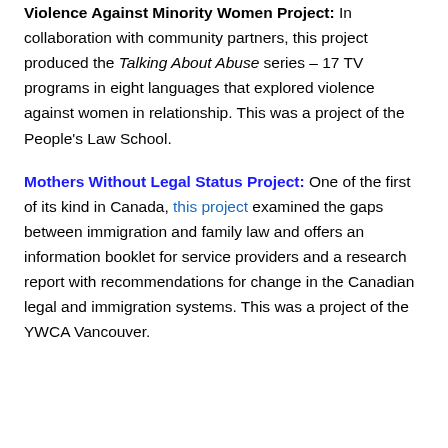Violence Against Minority Women Project: In collaboration with community partners, this project produced the Talking About Abuse series – 17 TV programs in eight languages that explored violence against women in relationship. This was a project of the People's Law School.
Mothers Without Legal Status Project: One of the first of its kind in Canada, this project examined the gaps between immigration and family law and offers an information booklet for service providers and a research report with recommendations for change in the Canadian legal and immigration systems. This was a project of the YWCA Vancouver.